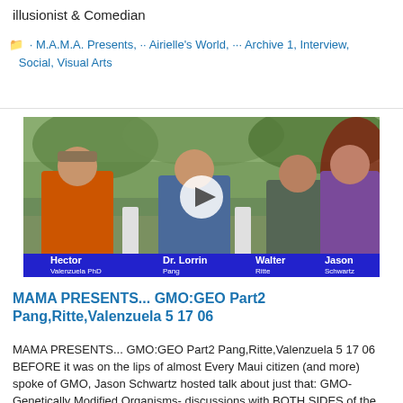illusionist & Comedian
· M.A.M.A. Presents, ·· Airielle's World, ··· Archive 1, Interview, Social, Visual Arts
[Figure (screenshot): Video thumbnail showing four men seated outdoors in chairs, with a play button overlay. A blue name bar at the bottom shows: Hector (Valenzuela PhD), Dr. Lorrin (Pang), Walter (Ritte), Jason (Schwartz).]
MAMA PRESENTS... GMO:GEO Part2 Pang,Ritte,Valenzuela 5 17 06
MAMA PRESENTS... GMO:GEO Part2 Pang,Ritte,Valenzuela 5 17 06 BEFORE it was on the lips of almost Every Maui citizen (and more) spoke of GMO, Jason Schwartz hosted talk about just that: GMO- Genetically Modified Organisms- discussions with BOTH SIDES of the